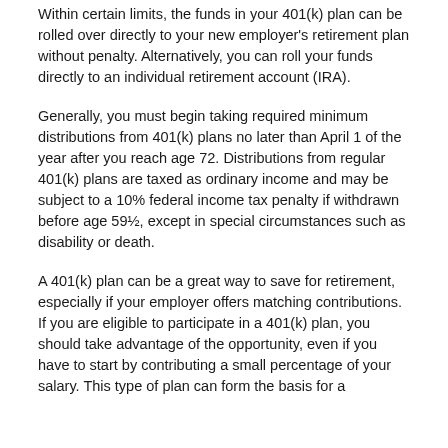Within certain limits, the funds in your 401(k) plan can be rolled over directly to your new employer's retirement plan without penalty. Alternatively, you can roll your funds directly to an individual retirement account (IRA).
Generally, you must begin taking required minimum distributions from 401(k) plans no later than April 1 of the year after you reach age 72. Distributions from regular 401(k) plans are taxed as ordinary income and may be subject to a 10% federal income tax penalty if withdrawn before age 59½, except in special circumstances such as disability or death.
A 401(k) plan can be a great way to save for retirement, especially if your employer offers matching contributions. If you are eligible to participate in a 401(k) plan, you should take advantage of the opportunity, even if you have to start by contributing a small percentage of your salary. This type of plan can form the basis for a